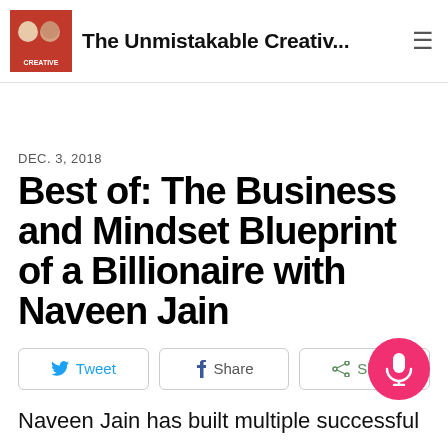The Unmistakable Creativ...
DEC. 3, 2018
Best of: The Business and Mindset Blueprint of a Billionaire with Naveen Jain
Tweet | Share | Share
Naveen Jain has built multiple successful